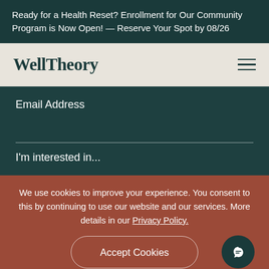Ready for a Health Reset? Enrollment for Our Community Program is Now Open! — Reserve Your Spot by 08/26
[Figure (logo): WellTheory logo in dark teal serif font]
Email Address
I'm interested in...
We use cookies to improve your experience. You consent to this by continuing to use our website and our services. More details in our Privacy Policy.
Accept Cookies